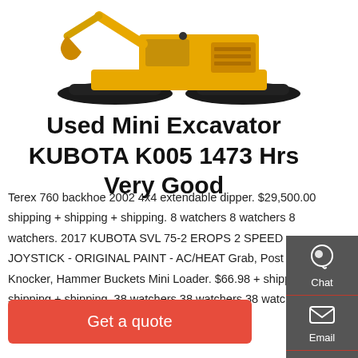[Figure (photo): Yellow large excavator/crawler machine on white background, partially cropped at top]
Used Mini Excavator KUBOTA K005 1473 Hrs Very Good
Terex 760 backhoe 2002 4x4 extendable dipper. $29,500.00 shipping + shipping + shipping. 8 watchers 8 watchers 8 watchers. 2017 KUBOTA SVL 75-2 EROPS 2 SPEED JOYSTICK - ORIGINAL PAINT - AC/HEAT Grab, Post Knocker, Hammer Buckets Mini Loader. $66.98 + shipping + shipping + shipping. 38 watchers 38 watchers 38 watchers. 2016 BOBCAT E32i
Get a quote